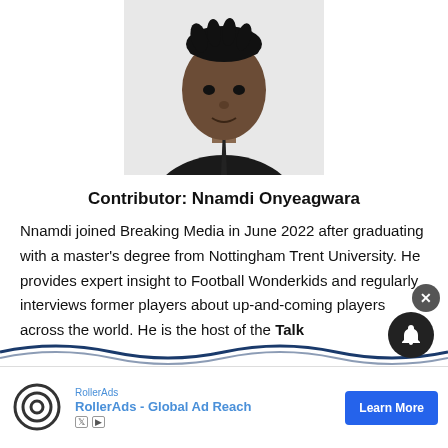[Figure (photo): Headshot photo of Nnamdi Onyeagwara, a young man wearing a dark sweater and tie, against a light background]
Contributor: Nnamdi Onyeagwara
Nnamdi joined Breaking Media in June 2022 after graduating with a master's degree from Nottingham Trent University. He provides expert insight to Football Wonderkids and regularly interviews former players about up-and-coming players across the world. He is the host of the Talk